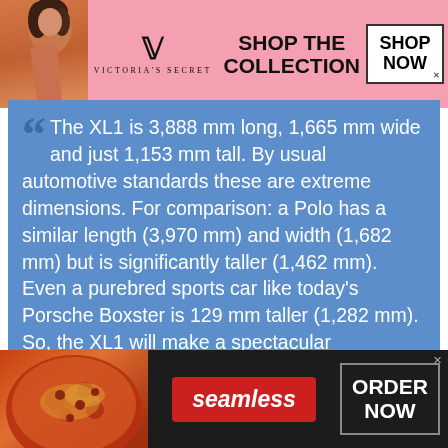[Figure (screenshot): Victoria's Secret advertisement banner with model, VS logo, 'SHOP THE COLLECTION' text, and 'SHOP NOW' button]
The XL1 is 3,888 mm long, 1,665 mm wide and just 1,153 mm tall. By usual automotive standards these are extreme dimensions. For comparison: a Polo has a similar length (3,970 mm) and width (1,682 mm) but is significantly taller (1,462 mm). Even a purebred sports car like today's Porsche Boxster is 129 mm taller (1,282 mm). So, the XL1 will make a spectacular appearance – a car of the future, built for today.
[Figure (screenshot): Seamless food delivery advertisement with pizza image, seamless logo in red, and 'ORDER NOW' button]